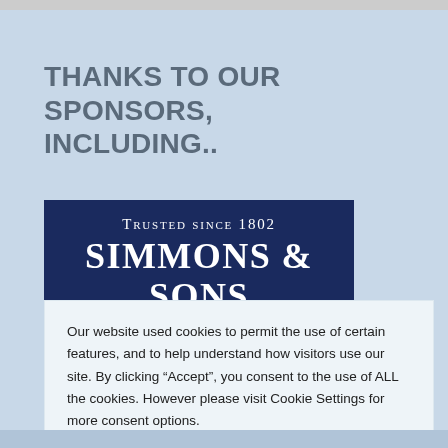THANKS TO OUR SPONSORS, INCLUDING..
[Figure (logo): Simmons & Sons logo: dark navy background with 'Trusted since 1802' in small serif caps and 'SIMMONS & SONS' in large bold white serif text]
Our website used cookies to permit the use of certain features, and to help understand how visitors use our site. By clicking “Accept”, you consent to the use of ALL the cookies. However please visit Cookie Settings for more consent options.